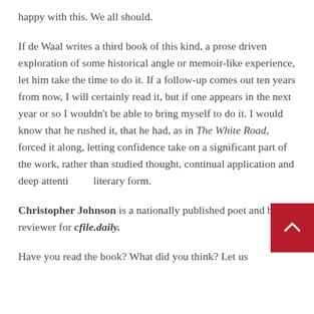happy with this. We all should.
If de Waal writes a third book of this kind, a prose driven exploration of some historical angle or memoir-like experience, let him take the time to do it. If a follow-up comes out ten years from now, I will certainly read it, but if one appears in the next year or so I wouldn't be able to bring myself to do it. I would know that he rushed it, that he had, as in The White Road, forced it along, letting confidence take on a significant part of the work, rather than studied thought, continual application and deep attention to literary form.
Christopher Johnson is a nationally published poet and book reviewer for cfile.daily.
Have you read the book? What did you think? Let us